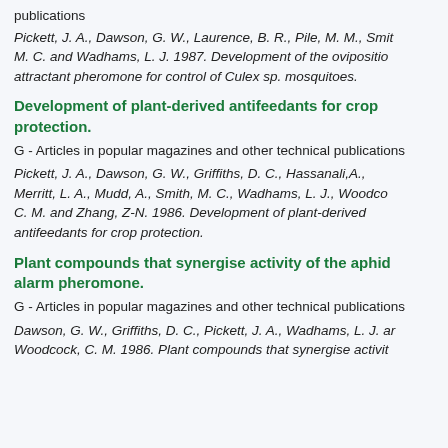publications
Pickett, J. A., Dawson, G. W., Laurence, B. R., Pile, M. M., Smith, M. C. and Wadhams, L. J. 1987. Development of the oviposition attractant pheromone for control of Culex sp. mosquitoes.
Development of plant-derived antifeedants for crop protection.
G - Articles in popular magazines and other technical publications
Pickett, J. A., Dawson, G. W., Griffiths, D. C., Hassanali,A., Merritt, L. A., Mudd, A., Smith, M. C., Wadhams, L. J., Woodcock, C. M. and Zhang, Z-N. 1986. Development of plant-derived antifeedants for crop protection.
Plant compounds that synergise activity of the aphid alarm pheromone.
G - Articles in popular magazines and other technical publications
Dawson, G. W., Griffiths, D. C., Pickett, J. A., Wadhams, L. J. and Woodcock, C. M. 1986. Plant compounds that synergise activi